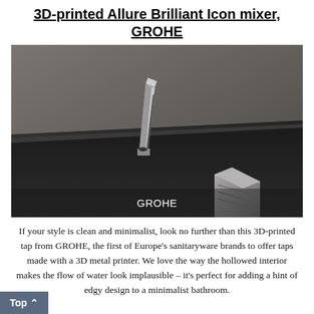3D-printed Allure Brilliant Icon mixer, GROHE
[Figure (photo): Photo of a 3D-printed GROHE Allure Brilliant Icon mixer tap mounted on a dark bathroom basin. The angular, geometric chrome faucet is shown against a grey wall background. A second handle/fixture is visible in the lower right. The GROHE logo appears as a caption overlay at the bottom of the image.]
If your style is clean and minimalist, look no further than this 3D-printed tap from GROHE, the first of Europe's sanitaryware brands to offer taps made with a 3D metal printer. We love the way the hollowed interior makes the flow of water look implausible – it's perfect for adding a hint of edgy design to a minimalist bathroom.